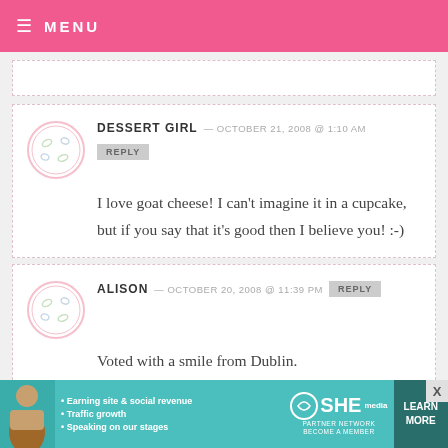MENU
DESSERT GIRL — OCTOBER 21, 2008 @ 1:10 AM
REPLY
I love goat cheese! I can't imagine it in a cupcake, but if you say that it's good then I believe you! :-)
ALISON — OCTOBER 20, 2008 @ 11:39 PM
REPLY
Voted with a smile from Dublin.
[Figure (infographic): SHE Partner Network ad banner with woman photo, bullet points: Earning site & social revenue, Traffic growth, Speaking on our stages. Logo and LEARN MORE button.]